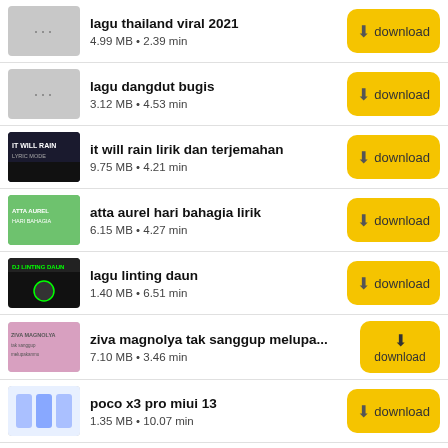lagu thailand viral 2021
4.99 MB • 2.39 min
lagu dangdut bugis
3.12 MB • 4.53 min
it will rain lirik dan terjemahan
9.75 MB • 4.21 min
atta aurel hari bahagia lirik
6.15 MB • 4.27 min
lagu linting daun
1.40 MB • 6.51 min
ziva magnolya tak sanggup melupa...
7.10 MB • 3.46 min
poco x3 pro miui 13
1.35 MB • 10.07 min
syarat mudik lebaran 2022
4.91 MB • 2.05 min